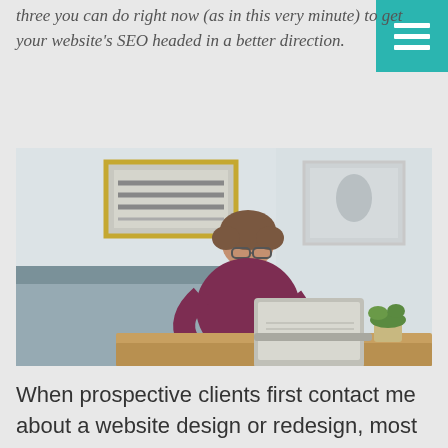three you can do right now (as in this very minute) to get your website's SEO headed in a better direction.
[Figure (photo): A woman with curly hair and glasses wearing a dark red top, sitting at a wooden desk working on a laptop. The background shows a light blue-grey couch, white walls, and framed artwork. There is a small plant on the desk to the right.]
When prospective clients first contact me about a website design or redesign, most